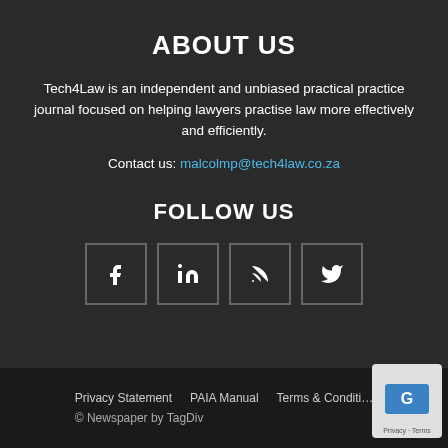ABOUT US
Tech4Law is an independent and unbiased practical practice journal focused on helping lawyers practise law more effectively and efficiently.
Contact us: malcolmp@tech4law.co.za
FOLLOW US
[Figure (infographic): Social media icon buttons for Facebook, LinkedIn, RSS, and Twitter in bordered square boxes]
Privacy Statement   PAIA Manual   Terms & Conditions   © Newspaper by TagDiv